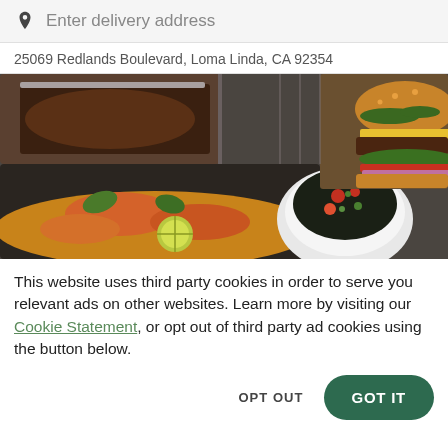Enter delivery address
25069 Redlands Boulevard, Loma Linda, CA 92354
[Figure (photo): Food photography showing grilled shrimp and vegetables on a cast iron skillet with a side of black bean salsa in a white bowl, and a cheeseburger in the background on a metal tray, all on a dark countertop.]
This website uses third party cookies in order to serve you relevant ads on other websites. Learn more by visiting our Cookie Statement, or opt out of third party ad cookies using the button below.
OPT OUT
GOT IT